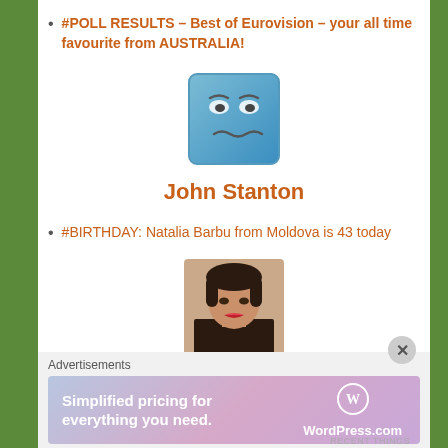#POLL RESULTS – Best of Eurovision – your all time favourite from AUSTRALIA!
[Figure (illustration): Cartoon avatar with a blue square head, stylized eyes and wavy mouth]
John Stanton
#BIRTHDAY: Natalia Barbu from Moldova is 43 today
[Figure (photo): Photo of a young woman with long dark hair and red lipstick]
lisajaynelewis
Loreen to return to Melodifesitvalen
Advertisements
[Figure (infographic): WordPress.com advertisement banner: Simplified pricing for everything you need.]